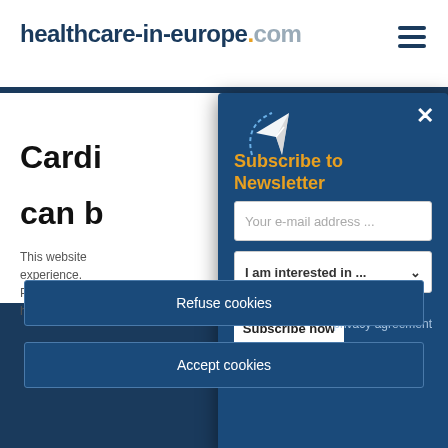healthcare-in-europe.com
Cardi... can b...
This website ... experience. Please refer t... how you can e...
Subscribe to Newsletter
Your e-mail address ...
I am interested in ...
Subscribe now
privacy agreement
Refuse cookies
Accept cookies